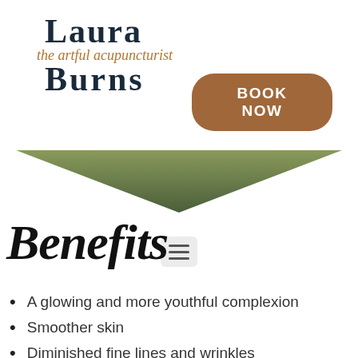[Figure (logo): Laura Burns - the artful acupuncturist logo with stylized serif text]
[Figure (other): Book Now button - rounded rectangle brown/tan button with white bold text]
[Figure (other): Hamburger menu icon - three horizontal lines in a light grey rounded rectangle]
[Figure (other): Green downward-pointing chevron/triangle separator]
Benefits
A glowing and more youthful complexion
Smoother skin
Diminished fine lines and wrinkles